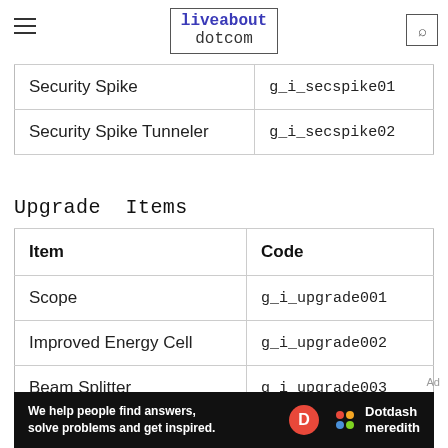liveabout dotcom
| Security Spike | g_i_secspike01 |
| Security Spike Tunneler | g_i_secspike02 |
Upgrade  Items
| Item | Code |
| --- | --- |
| Scope | g_i_upgrade001 |
| Improved Energy Cell | g_i_upgrade002 |
| Beam Splitter | g_i_upgrade003 |
[Figure (other): Dotdash Meredith advertisement banner: 'We help people find answers, solve problems and get inspired.']